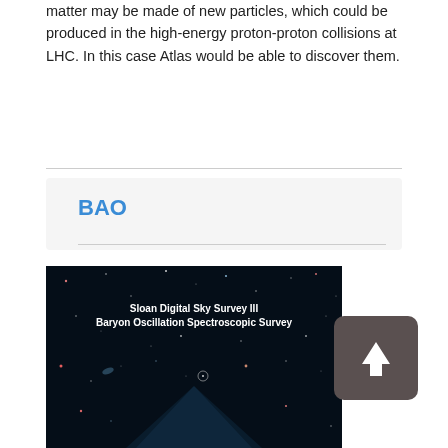matter may be made of new particles, which could be produced in the high-energy proton-proton collisions at LHC. In this case Atlas would be able to discover them.
BAO
[Figure (photo): Astronomical photo showing a dark night sky with stars and galaxies, overlaid with white text reading 'Sloan Digital Sky Survey III' and 'Baryon Oscillation Spectroscopic Survey'. A faint triangular light region is visible pointing downward.]
[Figure (other): Dark rounded-rectangle button with a white upward-pointing arrow icon]